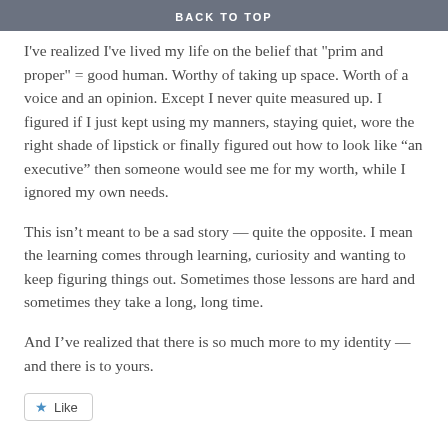BACK TO TOP
I've realized I've lived my life on the belief that "prim and proper" = good human. Worthy of taking up space. Worth of a voice and an opinion. Except I never quite measured up. I figured if I just kept using my manners, staying quiet, wore the right shade of lipstick or finally figured out how to look like “an executive” then someone would see me for my worth, while I ignored my own needs.
This isn’t meant to be a sad story — quite the opposite. I mean the learning comes through learning, curiosity and wanting to keep figuring things out. Sometimes those lessons are hard and sometimes they take a long, long time.
And I’ve realized that there is so much more to my identity — and there is to yours.